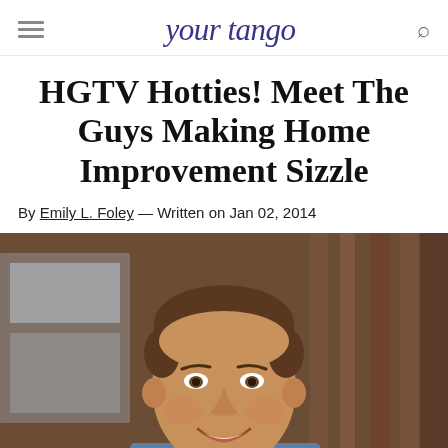your tango
HGTV Hotties! Meet The Guys Making Home Improvement Sizzle
By Emily L. Foley — Written on Jan 02, 2014
[Figure (photo): Smiling man with short brown hair wearing a blue t-shirt and plaid flannel shirt, photographed indoors against a wooden background]